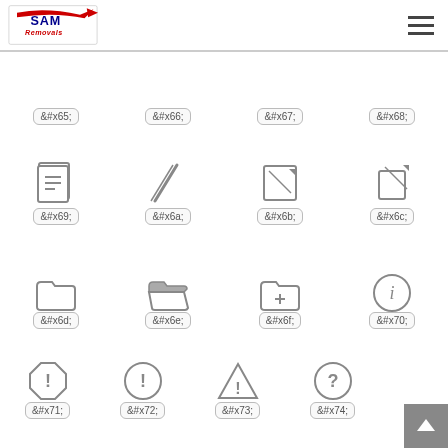SAM Removals logo and navigation menu
&#x65; &#x66; &#x67; &#x68;
[Figure (illustration): Four icons row 2: document/list icon (&#x69;), pencil/pen icon (&#x6a;), edit box icon (&#x6b;), arrow/move icon (&#x6c;)]
&#x69; &#x6a; &#x6b; &#x6c;
[Figure (illustration): Four icons row 3: folder empty (&#x6d;), folder open (&#x6e;), folder add (&#x6f;), info circle (&#x70;)]
&#x6d; &#x6e; &#x6f; &#x70;
[Figure (illustration): Four icons row 4: stop/warning octagon (&#x71;), exclamation circle (&#x72;), triangle warning (&#x73;), question circle (&#x74;)]
&#x71; &#x72; &#x73; &#x74;